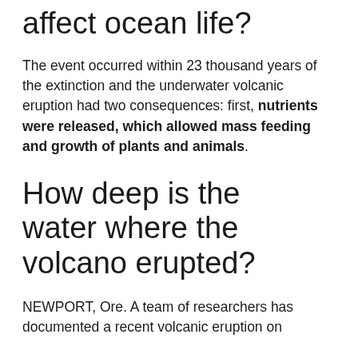affect ocean life?
The event occurred within 23 thousand years of the extinction and the underwater volcanic eruption had two consequences: first, nutrients were released, which allowed mass feeding and growth of plants and animals.
How deep is the water where the volcano erupted?
NEWPORT, Ore. A team of researchers has documented a recent volcanic eruption on